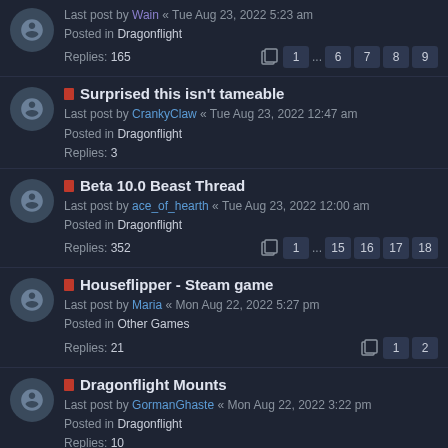Last post by Wain « Tue Aug 23, 2022 5:23 am
Posted in Dragonflight
Replies: 165 | pages: 1 ... 6 7 8 9
Surprised this isn't tameable
Last post by CrankyClaw « Tue Aug 23, 2022 12:47 am
Posted in Dragonflight
Replies: 3
Beta 10.0 Beast Thread
Last post by ace_of_hearth « Tue Aug 23, 2022 12:00 am
Posted in Dragonflight
Replies: 352 | pages: 1 ... 15 16 17 18
Houseflipper - Steam game
Last post by Maria « Mon Aug 22, 2022 5:27 pm
Posted in Other Games
Replies: 21 | pages: 1 2
Dragonflight Mounts
Last post by GormanGhaste « Mon Aug 22, 2022 3:22 pm
Posted in Dragonflight
Replies: 10
Dragonflight is the perfect time for Tamable...